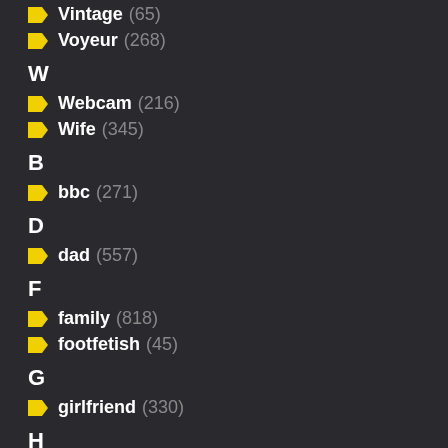Vintage (65)
Voyeur (268)
W
Webcam (216)
Wife (345)
B
bbc (271)
D
dad (557)
F
family (818)
footfetish (45)
G
girlfriend (330)
H
horse (213)